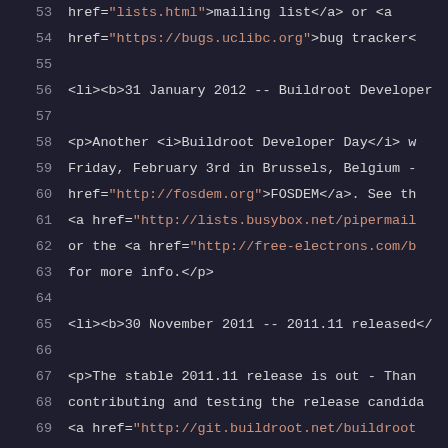[Figure (screenshot): Source code viewer showing HTML markup with line numbers 53-73. Dark background theme with syntax highlighting: line numbers in gray, HTML tags in blue/purple, attribute values/links in orange/pink, and plain text in white.]